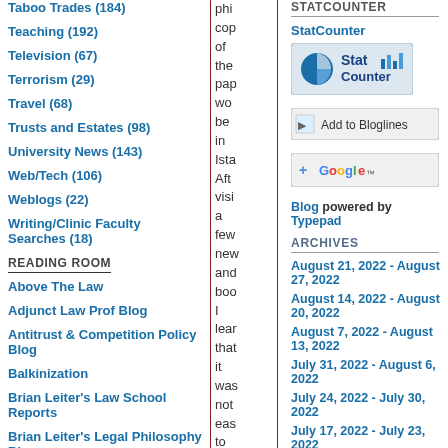Taboo Trades (184)
Teaching (192)
Television (67)
Terrorism (29)
Travel (68)
Trusts and Estates (98)
University News (143)
Web/Tech (106)
Weblogs (22)
Writing/Clinic Faculty Searches (18)
READING ROOM
Above The Law
Adjunct Law Prof Blog
Antitrust & Competition Policy Blog
Balkinization
Brian Leiter's Law School Reports
Brian Leiter's Legal Philosophy Blog
phi cop of the pap wo be in Ista Aft visi a few new and boo I lear that it was not eas to
STATCOUNTER
StatCounter
[Figure (logo): StatCounter logo with pie chart icon and bar chart icon]
[Figure (logo): Add to Bloglines button]
[Figure (logo): Add to Google button with plus sign and Google logo]
Blog powered by Typepad
ARCHIVES
August 21, 2022 - August 27, 2022
August 14, 2022 - August 20, 2022
August 7, 2022 - August 13, 2022
July 31, 2022 - August 6, 2022
July 24, 2022 - July 30, 2022
July 17, 2022 - July 23, 2022
July 10, 2022 - July 16, 2022